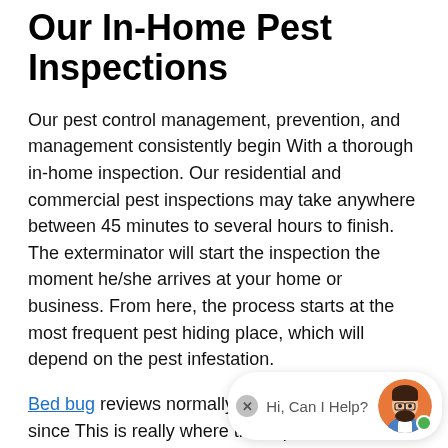Our In-Home Pest Inspections
Our pest control management, prevention, and management consistently begin With a thorough in-home inspection. Our residential and commercial pest inspections may take anywhere between 45 minutes to several hours to finish. The exterminator will start the inspection the moment he/she arrives at your home or business. From here, the process starts at the most frequent pest hiding place, which will depend on the pest infestation.
Bed bug reviews normally start in a bedroom since This is really where these pests are known to take up residence. Since they feast on blood from people, they prefer to be near to their hosts means residing in bed in..., ...... ....., pil... and box springs. Cockroaches, on the other hand, tend